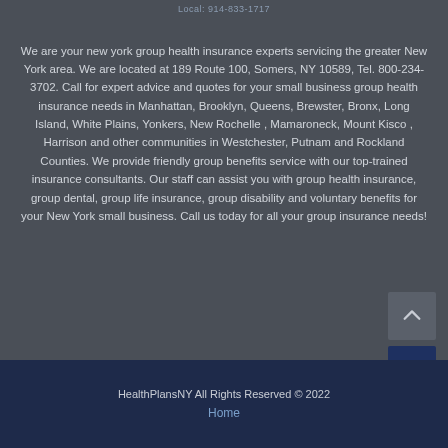Local: 914-833-1717
We are your new york group health insurance experts servicing the greater New York area. We are located at 189 Route 100, Somers, NY 10589, Tel. 800-234-3702. Call for expert advice and quotes for your small business group health insurance needs in Manhattan, Brooklyn, Queens, Brewster, Bronx, Long Island, White Plains, Yonkers, New Rochelle , Mamaroneck, Mount Kisco , Harrison and other communities in Westchester, Putnam and Rockland Counties. We provide friendly group benefits service with our top-trained insurance consultants. Our staff can assist you with group health insurance, group dental, group life insurance, group disability and voluntary benefits for your New York small business. Call us today for all your group insurance needs!
HealthPlansNY All Rights Reserved © 2022
Home